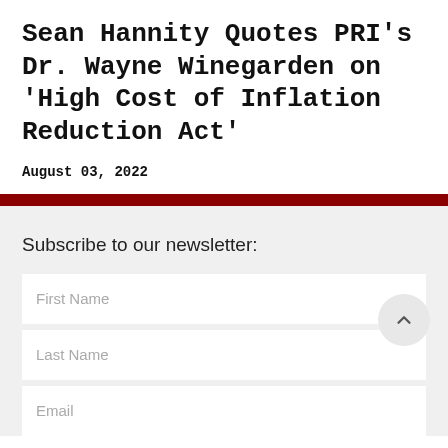Sean Hannity Quotes PRI's Dr. Wayne Winegarden on 'High Cost of Inflation Reduction Act'
August 03, 2022
Subscribe to our newsletter: